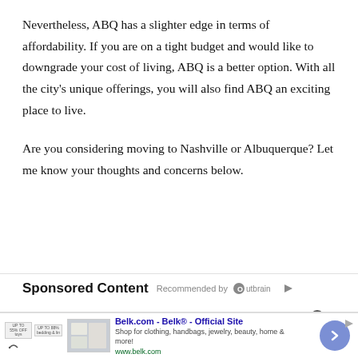Nevertheless, ABQ has a slighter edge in terms of affordability. If you are on a tight budget and would like to downgrade your cost of living, ABQ is a better option. With all the city's unique offerings, you will also find ABQ an exciting place to live.
Are you considering moving to Nashville or Albuquerque? Let me know your thoughts and concerns below.
Sponsored Content   Recommended by Outbrain
[Figure (other): Advertisement banner for Belk.com - Belk® - Official Site. Shows product images, ad text 'Shop for clothing, handbags, jewelry, beauty, home & more!' and URL www.belk.com, with navigation arrow button.]